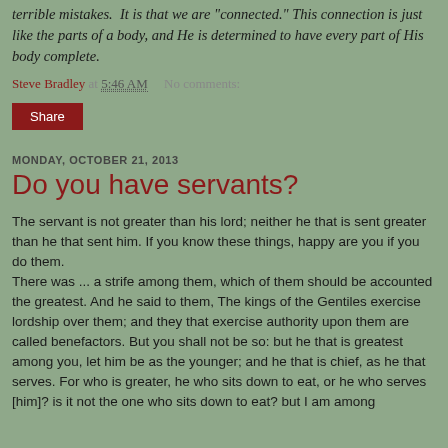terrible mistakes. It is that we are "connected." This connection is just like the parts of a body, and He is determined to have every part of His body complete.
Steve Bradley at 5:46 AM   No comments:
Share
MONDAY, OCTOBER 21, 2013
Do you have servants?
The servant is not greater than his lord; neither he that is sent greater than he that sent him. If you know these things, happy are you if you do them.
There was ... a strife among them, which of them should be accounted the greatest. And he said to them, The kings of the Gentiles exercise lordship over them; and they that exercise authority upon them are called benefactors. But you shall not be so: but he that is greatest among you, let him be as the younger; and he that is chief, as he that serves. For who is greater, he who sits down to eat, or he who serves [him]? is it not the one who sits down to eat? but I am among